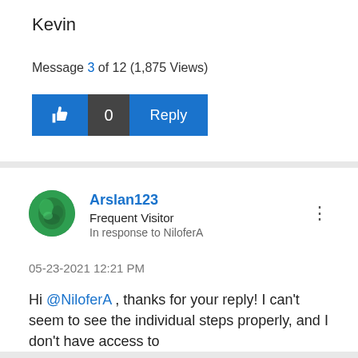Kevin
Message 3 of 12 (1,875 Views)
[Figure (infographic): Like button (thumbs up icon, blue background), like count 0 (dark grey background), and Reply button (blue background)]
[Figure (photo): Green circular avatar image for user Arslan123]
Arslan123
Frequent Visitor
In response to NiloferA
05-23-2021 12:21 PM
Hi @NiloferA , thanks for your reply! I can't seem to see the individual steps properly, and I don't have access to